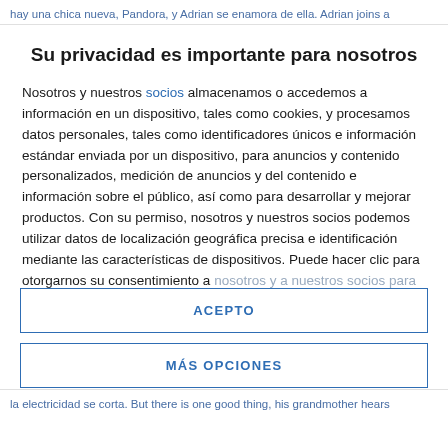hay una chica nueva, Pandora, y Adrian se enamora de ella. Adrian joins a
Su privacidad es importante para nosotros
Nosotros y nuestros socios almacenamos o accedemos a información en un dispositivo, tales como cookies, y procesamos datos personales, tales como identificadores únicos e información estándar enviada por un dispositivo, para anuncios y contenido personalizados, medición de anuncios y del contenido e información sobre el público, así como para desarrollar y mejorar productos. Con su permiso, nosotros y nuestros socios podemos utilizar datos de localización geográfica precisa e identificación mediante las características de dispositivos. Puede hacer clic para otorgarnos su consentimiento a nosotros y a nuestros socios para que llevemos a cabo el
ACEPTO
MÁS OPCIONES
la electricidad se corta. But there is one good thing, his grandmother hears